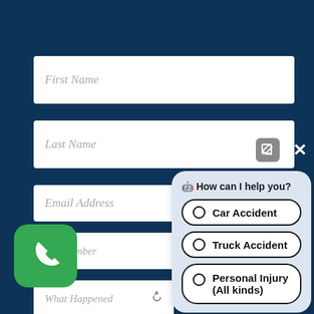First Name
Last Name
Email Address
one Number
What Happened
[Figure (screenshot): Green phone call button icon (rounded square, green background with white phone handset)]
🤖 How can I help you?
Car Accident
Truck Accident
Personal Injury (All kinds)